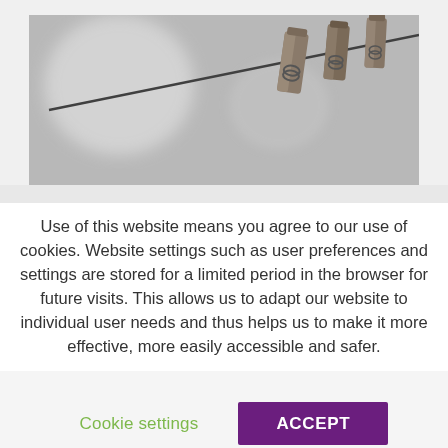[Figure (photo): Black and white photo of wooden clothespins clipped on a wire/string, with blurred background]
Use of this website means you agree to our use of cookies. Website settings such as user preferences and settings are stored for a limited period in the browser for future visits. This allows us to adapt our website to individual user needs and thus helps us to make it more effective, more easily accessible and safer.